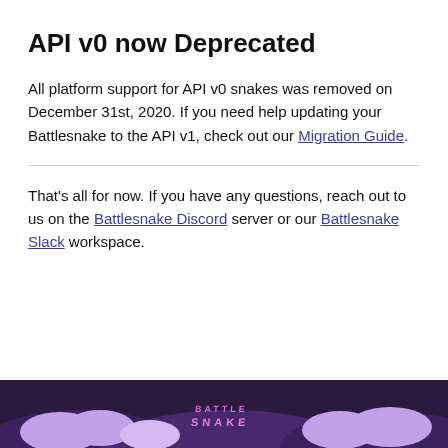API v0 now Deprecated
All platform support for API v0 snakes was removed on December 31st, 2020. If you need help updating your Battlesnake to the API v1, check out our Migration Guide.
That’s all for now. If you have any questions, reach out to us on the Battlesnake Discord server or our Battlesnake Slack workspace.
[Figure (illustration): Bottom portion of a Battlesnake branded illustration with dark purple background and pink/purple snake game elements with 'BATTLE SNAKE' logo text.]